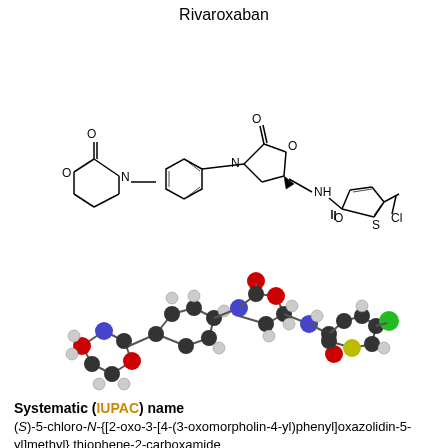Rivaroxaban
[Figure (schematic): Chemical structural formula of Rivaroxaban showing morpholinone ring, oxazolidinone ring, phenyl group, thiophene ring with chloro substituent, and NH amide linkage]
[Figure (illustration): 3D ball-and-stick molecular model of Rivaroxaban showing atom colors: black (carbon), white (hydrogen), blue (nitrogen), red (oxygen), yellow (sulfur), green (chlorine)]
Systematic (IUPAC) name
(S)-5-chloro-N-{[2-oxo-3-[4-(3-oxomorpholin-4-yl)phenyl]oxazolidin-5-yl]methyl} thiophene-2-carboxamide
Clinical data
Trade names   Xarelto